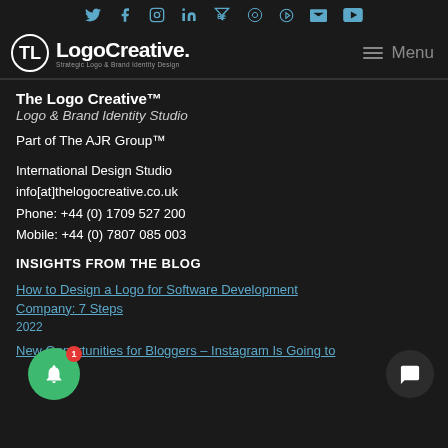Social icons bar: Twitter, Facebook, Instagram, LinkedIn, Behance, Dribbble, Pinterest, YouTube
[Figure (logo): The Logo Creative logo with circular TC monogram and text 'LogoCreative.' with tagline 'Strategic Logo & Brand Identity Design']
The Logo Creative™
Logo & Brand Identity Studio
Part of The AJR Group™
International Design Studio
info[at]thelogocreative.co.uk
Phone: +44 (0) 1709 527 200
Mobile: +44 (0) 7807 085 003
INSIGHTS FROM THE BLOG
How to Design a Logo for Software Development Company: 7 Steps
2022
New Opportunities for Bloggers – Instagram Is Going to